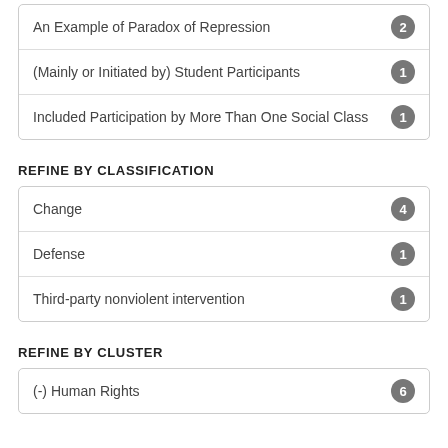An Example of Paradox of Repression 2
(Mainly or Initiated by) Student Participants 1
Included Participation by More Than One Social Class 1
REFINE BY CLASSIFICATION
Change 4
Defense 1
Third-party nonviolent intervention 1
REFINE BY CLUSTER
(-) Human Rights 6